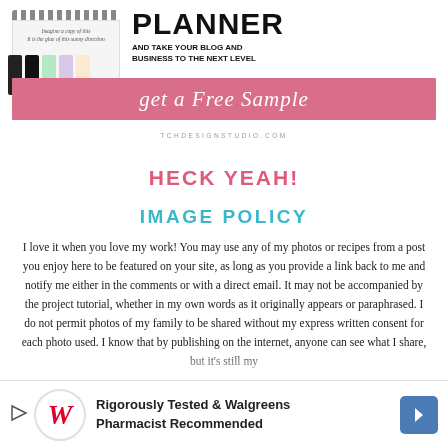[Figure (photo): Promotional banner for a blog/business planner. Shows a spiral notebook and pastel markers on the left, with bold text 'PLANNER AND TAKE YOUR BLOG AND BUSINESS TO THE NEXT LEVEL' on the right. A pink bar reads 'get a Free Sample' in cursive, and a website URL 'TCHDESIGNSTUDIO.COM' appears below.]
HECK YEAH!
IMAGE POLICY
I love it when you love my work! You may use any of my photos or recipes from a post you enjoy here to be featured on your site, as long as you provide a link back to me and notify me either in the comments or with a direct email. It may not be accompanied by the project tutorial, whether in my own words as it originally appears or paraphrased. I do not permit photos of my family to be shared without my express written consent for each photo used. I know that by publishing on the internet, anyone can see what I share, but it's still my
[Figure (screenshot): Advertisement: Rigorously Tested & Walgreens Pharmacist Recommended, with Walgreens logo and navigation arrow icon.]